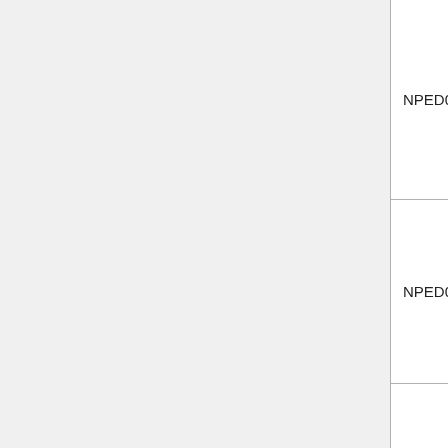| Code | Title | Data |
| --- | --- | --- |
| NPED00027 | Deadly Strike | 000000000000
000000000000
000000000000 |
| NPED00087 | Disneys PK: Out of the Shadows |  |
| NPUD21944 | Doras Big Birthday Adventure | 000000000000
000000000000
000000000000
000000000000
000000000000
000000000000
000000000000
000000000000
000000000000
000000000000 |
|  |  |  |